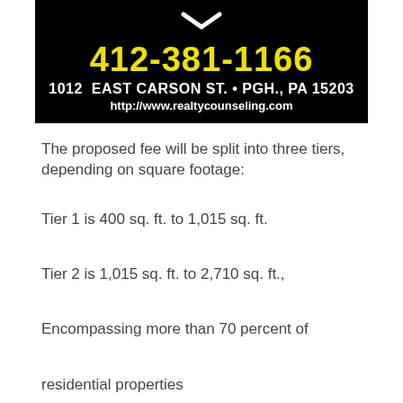[Figure (logo): Realty Counseling company header banner with phone number 412-381-1166, address 1012 East Carson St. Pittsburgh PA 15203, and website http://www.realtycounseling.com on black background]
The proposed fee will be split into three tiers, depending on square footage:
Tier 1 is 400 sq. ft. to 1,015 sq. ft.
Tier 2 is 1,015 sq. ft. to 2,710 sq. ft.,
Encompassing more than 70 percent of
residential properties